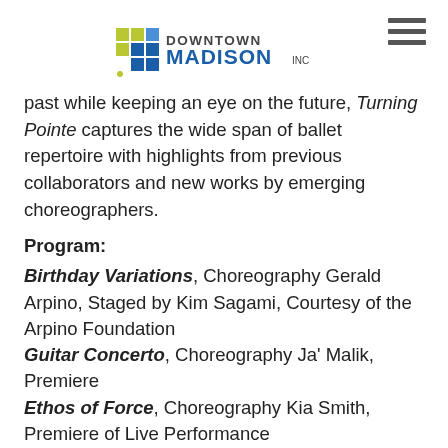Downtown Madison Inc.
past while keeping an eye on the future, Turning Pointe captures the wide span of ballet repertoire with highlights from previous collaborators and new works by emerging choreographers.
Program: Birthday Variations, Choreography Gerald Arpino, Staged by Kim Sagami, Courtesy of the Arpino Foundation Guitar Concerto, Choreography Ja' Malik, Premiere Ethos of Force, Choreography Kia Smith, Premiere of Live Performance Rubies Pas de Deux, Choreography George Balanchine, Staged by Nilas Martins, Courtesy of the Balanchine Trust